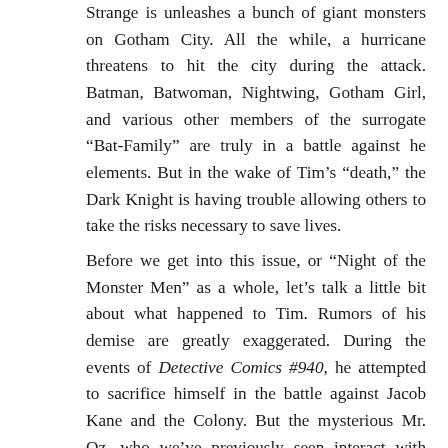Strange is unleashes a bunch of giant monsters on Gotham City. All the while, a hurricane threatens to hit the city during the attack. Batman, Batwoman, Nightwing, Gotham Girl, and various other members of the surrogate “Bat-Family” are truly in a battle against he elements. But in the wake of Tim’s “death,” the Dark Knight is having trouble allowing others to take the risks necessary to save lives.
Before we get into this issue, or “Night of the Monster Men” as a whole, let’s talk a little bit about what happened to Tim. Rumors of his demise are greatly exaggerated. During the events of Detective Comics #940, he attempted to sacrifice himself in the battle against Jacob Kane and the Colony. But the mysterious Mr. Oz, who we’ve previously seen interact with Superman, captured him. Now everyone, including Batman,